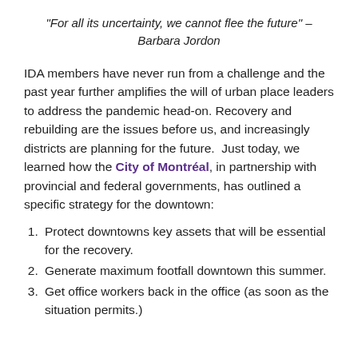“For all its uncertainty, we cannot flee the future” – Barbara Jordon
IDA members have never run from a challenge and the past year further amplifies the will of urban place leaders to address the pandemic head-on. Recovery and rebuilding are the issues before us, and increasingly districts are planning for the future. Just today, we learned how the City of Montréal, in partnership with provincial and federal governments, has outlined a specific strategy for the downtown:
Protect downtowns key assets that will be essential for the recovery.
Generate maximum footfall downtown this summer.
Get office workers back in the office (as soon as the situation permits.)